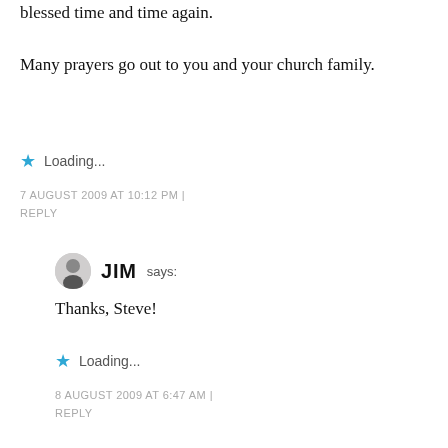blessed time and time again.
Many prayers go out to you and your church family.
★ Loading...
7 AUGUST 2009 AT 10:12 PM | REPLY
JIM says:
Thanks, Steve!
★ Loading...
8 AUGUST 2009 AT 6:47 AM | REPLY